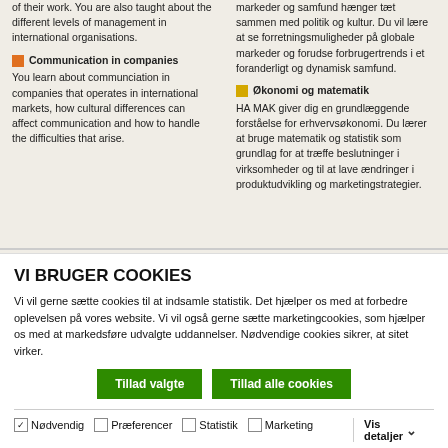of their work. You are also taught about the different levels of management in international organisations.
Communication in companies: You learn about communciation in companies that operates in international markets, how cultural differences can affect communication and how to handle the difficulties that arise.
markeder og samfund hænger tæt sammen med politik og kultur. Du vil lære at se forretningsmuligheder på globale markeder og forudse forbrugertrends i et foranderligt og dynamisk samfund.
Økonomi og matematik: HA MAK giver dig en grundlæggende forståelse for erhvervsøkonomi. Du lærer at bruge matematik og statistik som grundlag for at træffe beslutninger i virksomheder og til at lave ændringer i produktudvikling og marketingstrategier.
BSC IN INTERNATIONAL
HA I MARKEDS- OG
VI BRUGER COOKIES
Vi vil gerne sætte cookies til at indsamle statistik. Det hjælper os med at forbedre oplevelsen på vores website. Vi vil også gerne sætte marketingcookies, som hjælper os med at markedsføre udvalgte uddannelser. Nødvendige cookies sikrer, at sitet virker.
Tillad valgte
Tillad alle cookies
Nødvendig  Præferencer  Statistik  Marketing
Vis detaljer